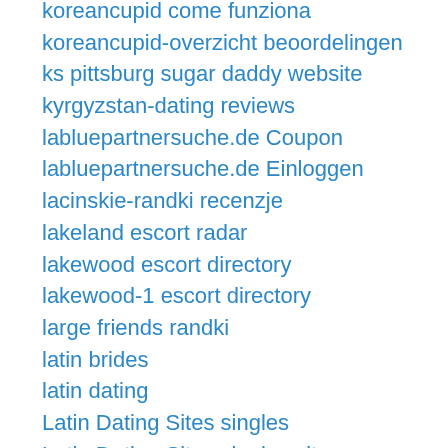koreancupid come funziona
koreancupid-overzicht beoordelingen
ks pittsburg sugar daddy website
kyrgyzstan-dating reviews
labluepartnersuche.de Coupon
labluepartnersuche.de Einloggen
lacinskie-randki recenzje
lakeland escort radar
lakewood escort directory
lakewood-1 escort directory
large friends randki
latin brides
latin dating
Latin Dating Sites singles
Latin Dating Sites singles site